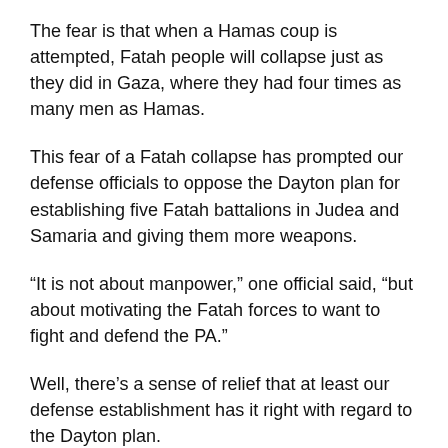The fear is that when a Hamas coup is attempted, Fatah people will collapse just as they did in Gaza, where they had four times as many men as Hamas.
This fear of a Fatah collapse has prompted our defense officials to oppose the Dayton plan for establishing five Fatah battalions in Judea and Samaria and giving them more weapons.
“It is not about manpower,” one official said, “but about motivating the Fatah forces to want to fight and defend the PA.”
Well, there’s a sense of relief that at least our defense establishment has it right with regard to the Dayton plan.
But then there’s this, which, unfortunately, in my opinion,